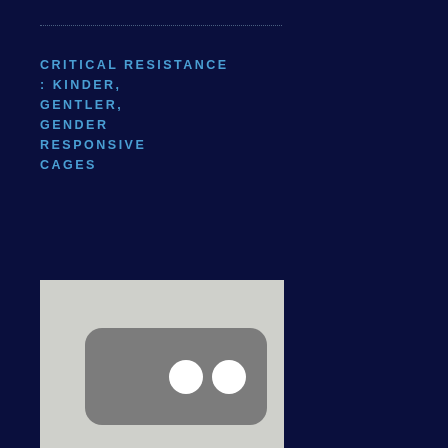CRITICAL RESISTANCE : KINDER, GENTLER, GENDER RESPONSIVE CAGES
[Figure (photo): A grey rectangular device with two circular dots/buttons on a light grey background]
Prison Expansion Is Not Prison Reform
VOICES FROM